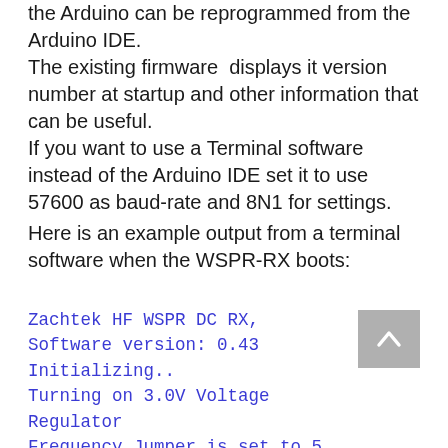the Arduino can be reprogrammed from the Arduino IDE. The existing firmware displays it version number at startup and other information that can be useful. If you want to use a Terminal software instead of the Arduino IDE set it to use 57600 as baud-rate and 8N1 for settings.
Here is an example output from a terminal software when the WSPR-RX boots:
Zachtek HF WSPR DC RX,
Software version: 0.43
Initializing..
Turning on 3.0V Voltage Regulator
Frequency Jumper is set to 5 so setting receiver